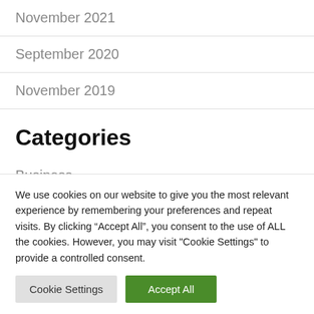November 2021
September 2020
November 2019
Categories
Business
Economy
We use cookies on our website to give you the most relevant experience by remembering your preferences and repeat visits. By clicking “Accept All”, you consent to the use of ALL the cookies. However, you may visit "Cookie Settings" to provide a controlled consent.